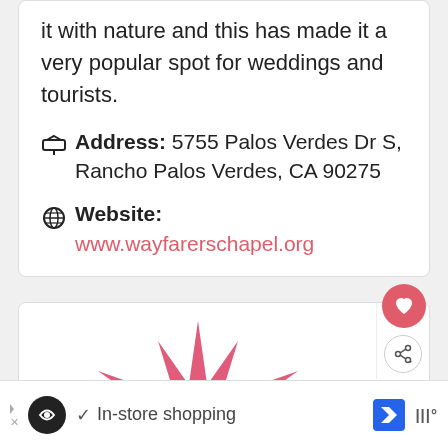it with nature and this has made it a very popular spot for weddings and tourists.
Address: 5755 Palos Verdes Dr S, Rancho Palos Verdes, CA 90275
Website: www.wayfarerschapel.org
[Figure (illustration): Red/pink star-burst or crown-like stylized graphic shape on white background, resembling a spiky decorative element]
WHAT'S NEXT → Top 10 Most Beautiful...
In-store shopping (advertisement bar)